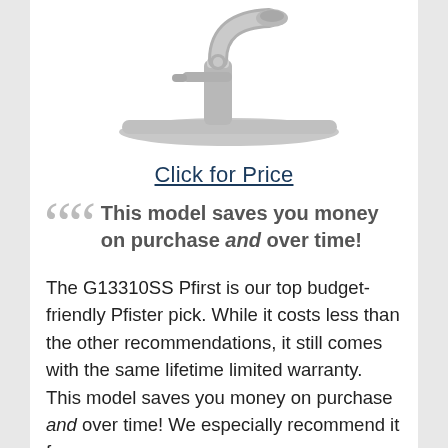[Figure (photo): Bottom portion of a stainless steel kitchen faucet on a white background]
Click for Price
This model saves you money on purchase and over time!
The G13310SS Pfirst is our top budget-friendly Pfister pick. While it costs less than the other recommendations, it still comes with the same lifetime limited warranty. This model saves you money on purchase and over time! We especially recommend it for